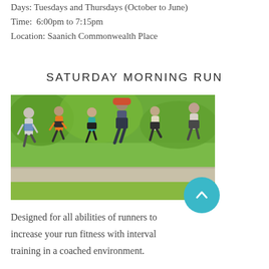Days: Tuesdays and Thursdays (October to June)
Time:  6:00pm to 7:15pm
Location: Saanich Commonwealth Place
SATURDAY MORNING RUN
[Figure (photo): Group of runners jogging on a path with green trees in background]
Designed for all abilities of runners to increase your run fitness with interval training in a coached environment.